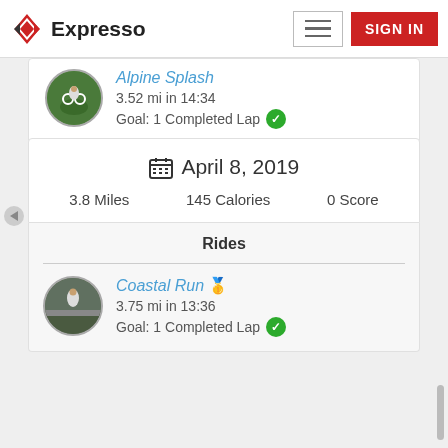Expresso — SIGN IN
Alpine Splash
3.52 mi in 14:34
Goal: 1 Completed Lap ✔
April 8, 2019
3.8 Miles   145 Calories   0 Score
Rides
Coastal Run 🥇
3.75 mi in 13:36
Goal: 1 Completed Lap ✔